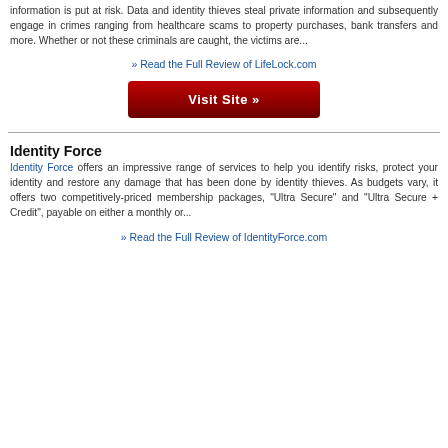information is put at risk. Data and identity thieves steal private information and subsequently engage in crimes ranging from healthcare scams to property purchases, bank transfers and more. Whether or not these criminals are caught, the victims are...
» Read the Full Review of LifeLock.com
[Figure (other): Red 'Visit Site »' button]
Identity Force
Identity Force offers an impressive range of services to help you identify risks, protect your identity and restore any damage that has been done by identity thieves. As budgets vary, it offers two competitively-priced membership packages, "Ultra Secure" and "Ultra Secure + Credit", payable on either a monthly or...
» Read the Full Review of IdentityForce.com